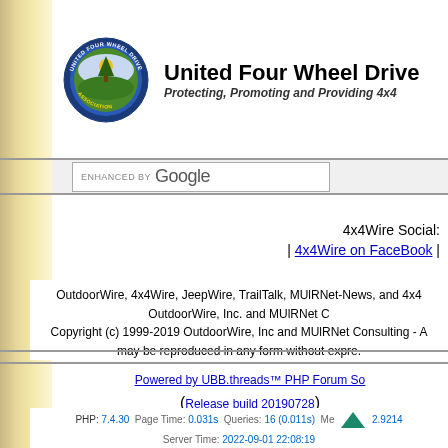[Figure (logo): United Four Wheel Drive Association circular logo with green tree, yellow sun, and blue text around border]
United Four Wheel Drive Associations
Protecting, Promoting and Providing 4x4
[Figure (screenshot): ENHANCED BY Google search bar]
4x4Wire Social:
| 4x4Wire on FaceBook |
OutdoorWire, 4x4Wire, JeepWire, TrailTalk, MUlRNet-News, and 4x4 OutdoorWire, Inc. and MUlRNet C Copyright (c) 1999-2019 OutdoorWire, Inc and MUlRNet Consulting - A may be reproduced in any form without expre. You may link freely to this site, but no further use is allowed without th this material. All corporate trademarks are the property of th
Powered by UBB.threads™ PHP Forum Software
(Release build 20190728)
PHP: 7.4.30 Page Time: 0.031s Queries: 16 (0.011s) Memory: 2.9214
Server Time: 2022-09-01 22:08:19
Valid HTML 5 and Valid CSS